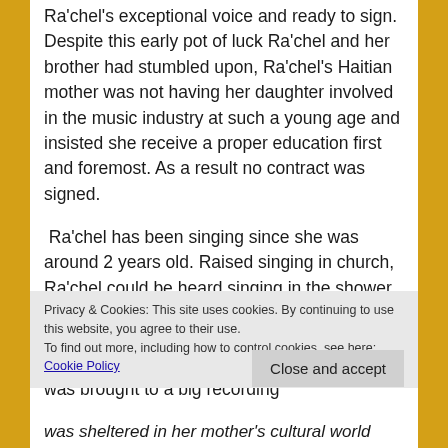Ra'chel's exceptional voice and ready to sign. Despite this early pot of luck Ra'chel and her brother had stumbled upon, Ra'chel's Haitian mother was not having her daughter involved in the music industry at such a young age and insisted she receive a proper education first and foremost. As a result no contract was signed.
Ra'chel has been singing since she was around 2 years old. Raised singing in church, Ra'chel could be heard singing in the shower, around her home, at shows for her friends, anywhere she could, but was not permitted to pursue further until she was of age. If Ra'chel was brought to a big recording
Privacy & Cookies: This site uses cookies. By continuing to use this website, you agree to their use.
To find out more, including how to control cookies, see here: Cookie Policy
Close and accept
was sheltered in her mother's cultural world